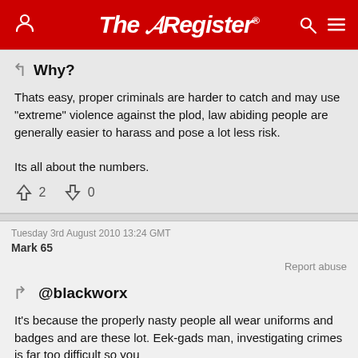The Register
Why?
Thats easy, proper criminals are harder to catch and may use "extreme" violence against the plod, law abiding people are generally easier to harass and pose a lot less risk.

Its all about the numbers.
↑2  ↓0
Tuesday 3rd August 2010 13:24 GMT
Mark 65
Report abuse
@blackworx
It's because the properly nasty people all wear uniforms and badges and are these lot. Eek-gads man, investigating crimes is far too difficult so you